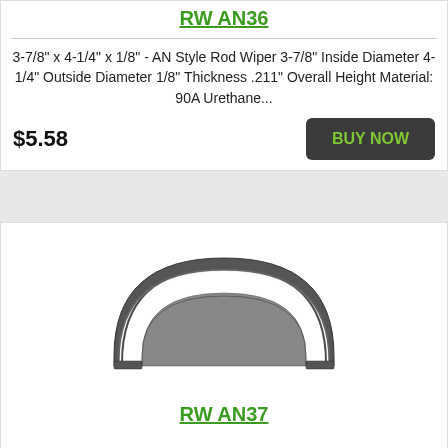RW AN36
3-7/8" x 4-1/4" x 1/8" - AN Style Rod Wiper 3-7/8" Inside Diameter 4-1/4" Outside Diameter 1/8" Thickness .211" Overall Height Material: 90A Urethane...
$5.58
[Figure (illustration): AN Style Rod Wiper seal component shown as a dark gray horseshoe/arch shape viewed from front]
RW AN37